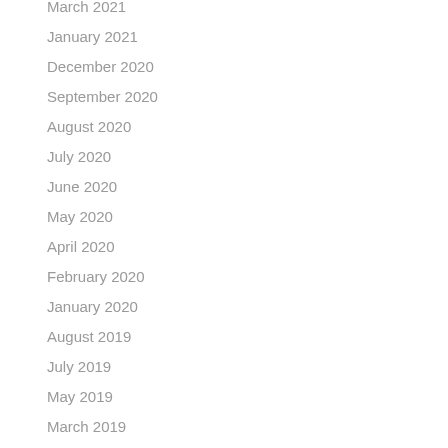March 2021
January 2021
December 2020
September 2020
August 2020
July 2020
June 2020
May 2020
April 2020
February 2020
January 2020
August 2019
July 2019
May 2019
March 2019